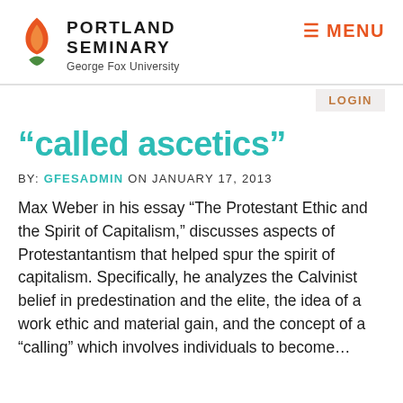PORTLAND SEMINARY George Fox University | MENU
LOGIN
“called ascetics”
BY: GFESADMIN ON JANUARY 17, 2013
Max Weber in his essay “The Protestant Ethic and the Spirit of Capitalism,” discusses aspects of Protestantantism that helped spur the spirit of capitalism. Specifically, he analyzes the Calvinist belief in predestination and the elite, the idea of a work ethic and material gain, and the concept of a “calling” which involves individuals to become…